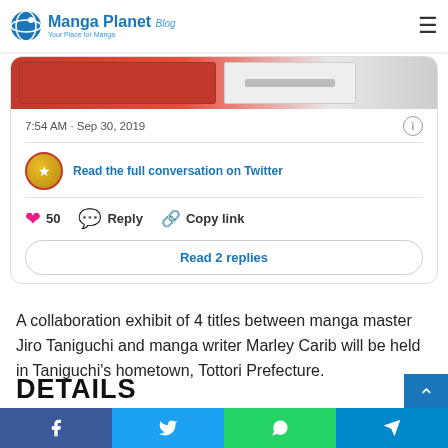Manga Planet Blog — Your Place for Manga
[Figure (screenshot): Embedded tweet card showing a tweet image strip, timestamp '7:54 AM · Sep 30, 2019', a profile badge, 'Read the full conversation on Twitter' link, 50 likes, Reply, Copy link actions, and a 'Read 2 replies' button]
A collaboration exhibit of 4 titles between manga master Jiro Taniguchi and manga writer Marley Carib will be held in Taniguchi's hometown, Tottori Prefecture.
DETAILS
[Figure (infographic): Social sharing bar with Facebook, Twitter, WhatsApp, and Telegram icons]